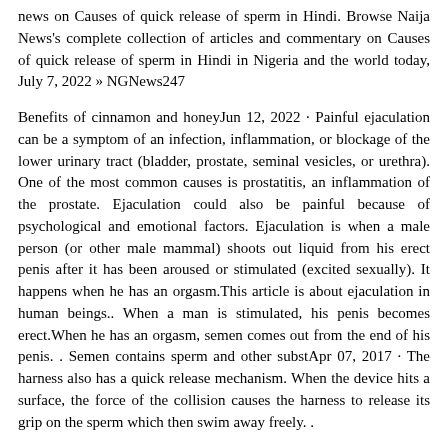news on Causes of quick release of sperm in Hindi. Browse Naija News's complete collection of articles and commentary on Causes of quick release of sperm in Hindi in Nigeria and the world today, July 7, 2022 » NGNews247
Benefits of cinnamon and honeyJun 12, 2022 · Painful ejaculation can be a symptom of an infection, inflammation, or blockage of the lower urinary tract (bladder, prostate, seminal vesicles, or urethra). One of the most common causes is prostatitis, an inflammation of the prostate. Ejaculation could also be painful because of psychological and emotional factors. Ejaculation is when a male person (or other male mammal) shoots out liquid from his erect penis after it has been aroused or stimulated (excited sexually). It happens when he has an orgasm.This article is about ejaculation in human beings.. When a man is stimulated, his penis becomes erect.When he has an orgasm, semen comes out from the end of his penis. . Semen contains sperm and other substApr 07, 2017 · The harness also has a quick release mechanism. When the device hits a surface, the force of the collision causes the harness to release its grip on the sperm which then swim away freely. .
Jun 12, 2022 · Painful ejaculation can be a symptom of an infection, inflammation, or blockage of the lower urinary tract (bladder, prostate, seminal vesicles, or urethra). One of the most common causes is prostatitis, an inflammation of the prostate.